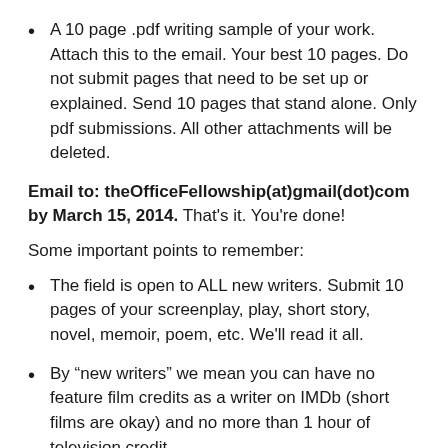A 10 page .pdf writing sample of your work. Attach this to the email. Your best 10 pages. Do not submit pages that need to be set up or explained. Send 10 pages that stand alone. Only pdf submissions. All other attachments will be deleted.
Email to: theOfficeFellowship(at)gmail(dot)com by March 15, 2014. That's it. You're done!
Some important points to remember:
The field is open to ALL new writers. Submit 10 pages of your screenplay, play, short story, novel, memoir, poem, etc. We'll read it all.
By “new writers” we mean you can have no feature film credits as a writer on IMDb (short films are okay) and no more than 1 hour of television credit